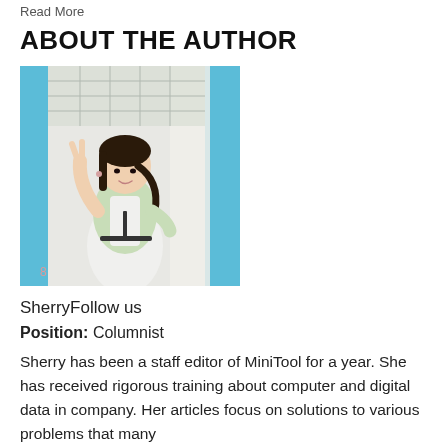Read More
ABOUT THE AUTHOR
[Figure (photo): Portrait photo of Sherry, a young woman in a light green and white outfit, making a peace sign gesture, standing near a structure with blue railings and white columns.]
SherryFollow us
Position: Columnist
Sherry has been a staff editor of MiniTool for a year. She has received rigorous training about computer and digital data in company. Her articles focus on solutions to various problems that many